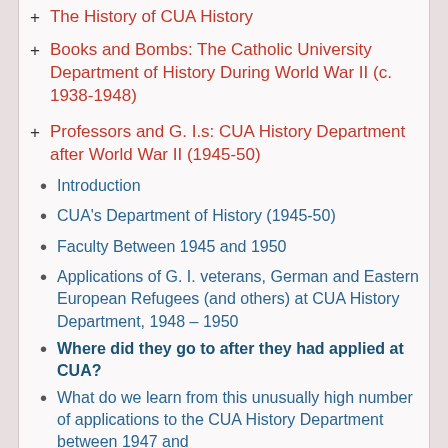+ The History of CUA History
+ Books and Bombs: The Catholic University Department of History During World War II (c. 1938-1948)
+ Professors and G. I.s: CUA History Department after World War II (1945-50)
• Introduction
• CUA's Department of History (1945-50)
• Faculty Between 1945 and 1950
• Applications of G. I. veterans, German and Eastern European Refugees (and others) at CUA History Department, 1948 – 1950
• Where did they go to after they had applied at CUA?
• What do we learn from this unusually high number of applications to the CUA History Department between 1947 and